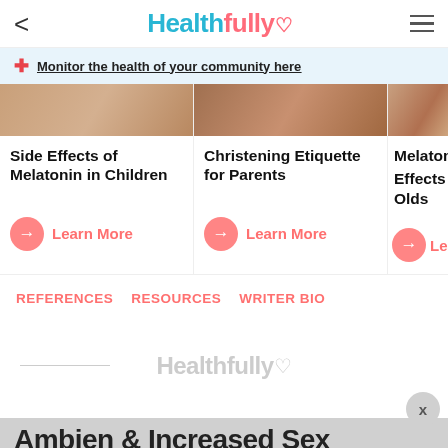Healthfully
Monitor the health of your community here
Side Effects of Melatonin in Children
Christening Etiquette for Parents
Melatonin Effects in Olds
Learn More
Learn More
Lea
REFERENCES
RESOURCES
WRITER BIO
Healthfully
Ambien & Increased Sex